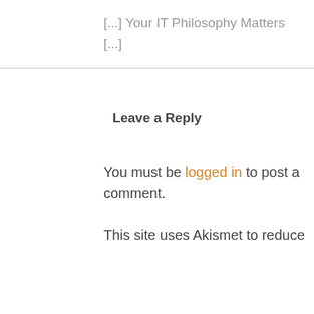[…] Your IT Philosophy Matters […]
Leave a Reply
You must be logged in to post a comment.
This site uses Akismet to reduce